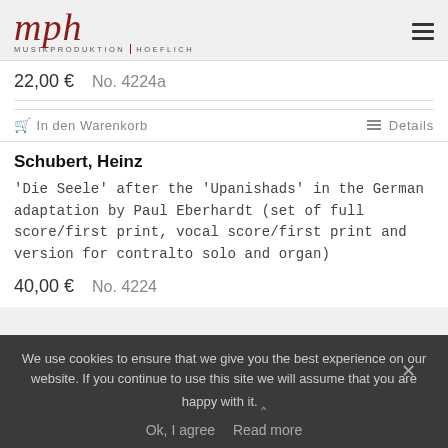[Figure (logo): mph Musikproduktion Hoeflich logo in red serif italic with text MUSIKPRODUKTION HOEFLICH below]
22,00 €   No. 4224a
In den Warenkorb   Details
Schubert, Heinz
'Die Seele' after the 'Upanishads' in the German adaptation by Paul Eberhardt (set of full score/first print, vocal score/first print and version for contralto solo and organ)
40,00 €   No. 4224
We use cookies to ensure that we give you the best experience on our website. If you continue to use this site we will assume that you are happy with it.
Ok, I agree   Read more